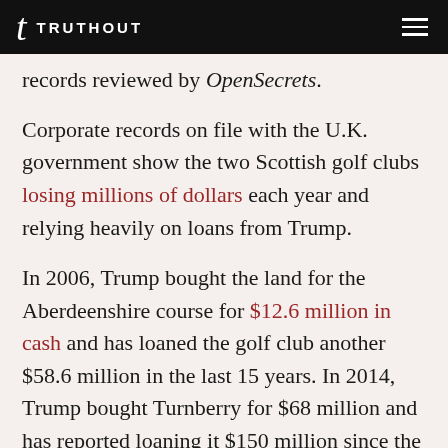TRUTHOUT
records reviewed by OpenSecrets.
Corporate records on file with the U.K. government show the two Scottish golf clubs losing millions of dollars each year and relying heavily on loans from Trump.
In 2006, Trump bought the land for the Aberdeenshire course for $12.6 million in cash and has loaned the golf club another $58.6 million in the last 15 years. In 2014, Trump bought Turnberry for $68 million and has reported loaning it $150 million since the initial